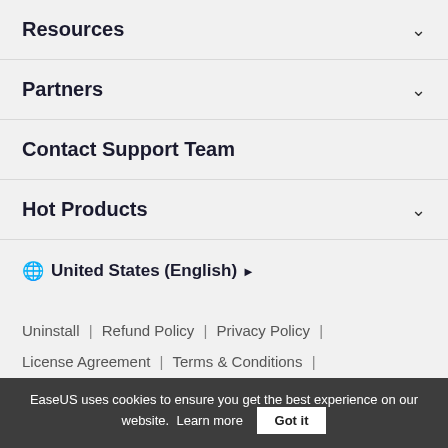Resources
Partners
Contact Support Team
Hot Products
United States (English)
Uninstall | Refund Policy | Privacy Policy | License Agreement | Terms & Conditions | My Account
EaseUS uses cookies to ensure you get the best experience on our website. Learn more Got it